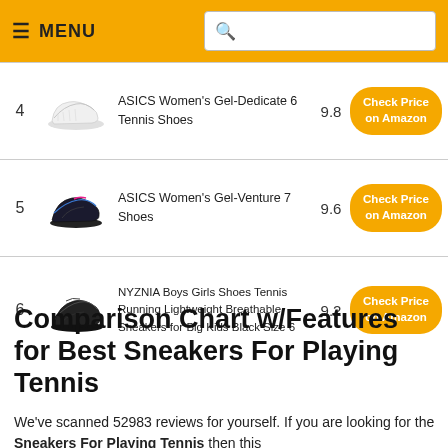MENU [search bar]
| # | Image | Product | Score | Link |
| --- | --- | --- | --- | --- |
| 4 | [shoe image] | ASICS Women's Gel-Dedicate 6 Tennis Shoes | 9.8 | Check Price on Amazon |
| 5 | [shoe image] | ASICS Women's Gel-Venture 7 Shoes | 9.6 | Check Price on Amazon |
| 6 | [shoe image] | NYZNIA Boys Girls Shoes Tennis Running Lightweight Breathable Sneakers for Big Kids Black Size 6 | 9.2 | Check Price on Amazon |
Comparison Chart w/Features for Best Sneakers For Playing Tennis
We've scanned 52983 reviews for yourself. If you are looking for the Sneakers For Playing Tennis then this